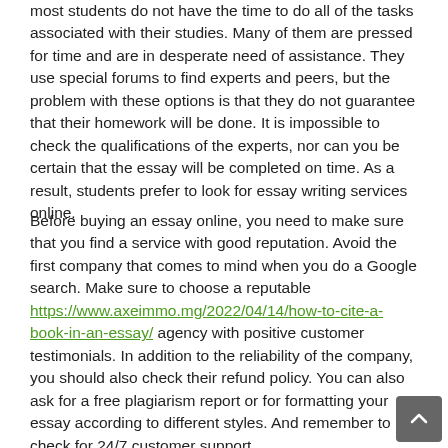most students do not have the time to do all of the tasks associated with their studies. Many of them are pressed for time and are in desperate need of assistance. They use special forums to find experts and peers, but the problem with these options is that they do not guarantee that their homework will be done. It is impossible to check the qualifications of the experts, nor can you be certain that the essay will be completed on time. As a result, students prefer to look for essay writing services online.
Before buying an essay online, you need to make sure that you find a service with good reputation. Avoid the first company that comes to mind when you do a Google search. Make sure to choose a reputable https://www.axeimmo.mg/2022/04/14/how-to-cite-a-book-in-an-essay/ agency with positive customer testimonials. In addition to the reliability of the company, you should also check their refund policy. You can also ask for a free plagiarism report or for formatting your essay according to different styles. And remember to check for 24/7 customer support.